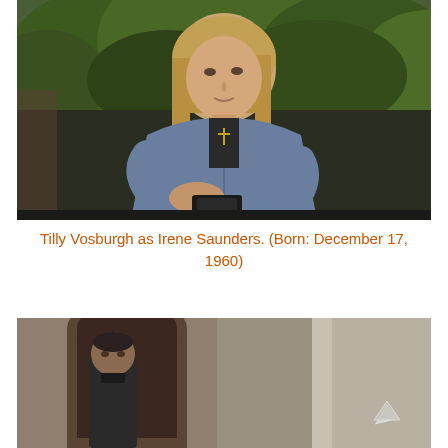[Figure (photo): A woman with blonde shoulder-length hair wearing a denim jacket and a cross necklace, holding a small object, with green foliage in the background. TV/film still of Tilly Vosburgh as Irene Saunders.]
Tilly Vosburgh as Irene Saunders. (Born: December 17, 1960)
[Figure (photo): A man in a dark coat seen near an arched doorway or church entrance, partially visible, with stone walls visible. Another TV/film still.]